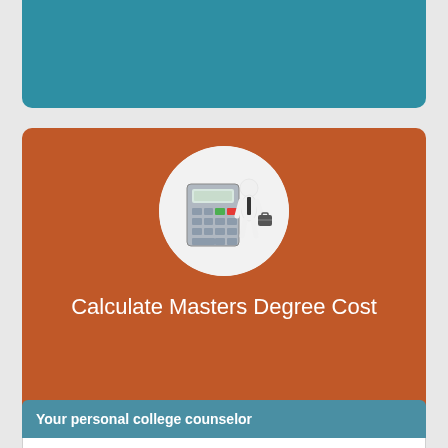[Figure (illustration): Teal/blue banner at the top of the page]
[Figure (illustration): Orange rounded card with a circular illustration of a white 3D figure standing next to a calculator, and the text 'Calculate Masters Degree Cost' centered below]
Your personal college counselor
Best Graduate Programs in International Business and Trade Law